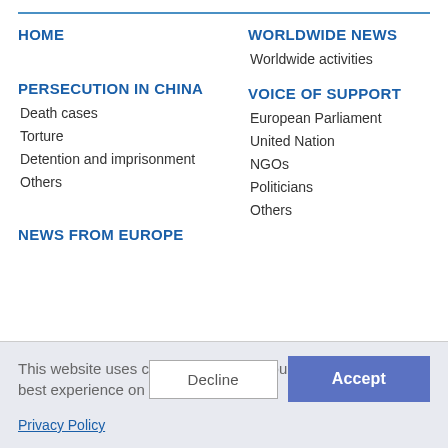HOME
WORLDWIDE NEWS
Worldwide activities
PERSECUTION IN CHINA
VOICE OF SUPPORT
Death cases
European Parliament
Torture
United Nation
Detention and imprisonment
NGOs
Others
Politicians
NEWS FROM EUROPE
Others
This website uses cookies to ensure you get the best experience on our website.
Privacy Policy